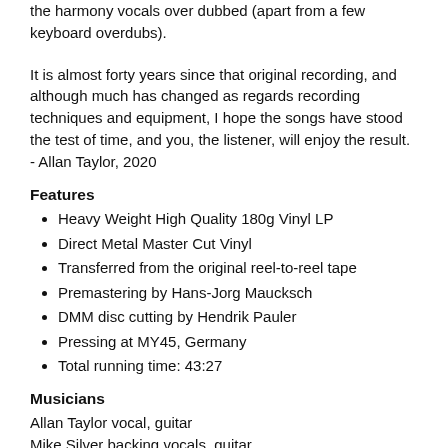the harmony vocals over dubbed (apart from a few keyboard overdubs).
It is almost forty years since that original recording, and although much has changed as regards recording techniques and equipment, I hope the songs have stood the test of time, and you, the listener, will enjoy the result. - Allan Taylor, 2020
Features
Heavy Weight High Quality 180g Vinyl LP
Direct Metal Master Cut Vinyl
Transferred from the original reel-to-reel tape
Premastering by Hans-Jorg Maucksch
DMM disc cutting by Hendrik Pauler
Pressing at MY45, Germany
Total running time: 43:27
Musicians
Allan Taylor vocal, guitar
Mike Silver backing vocals, guitar